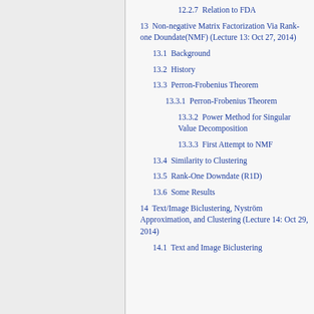12.2.7  Relation to FDA
13  Non-negative Matrix Factorization Via Rank-one Doundate(NMF) (Lecture 13: Oct 27, 2014)
13.1  Background
13.2  History
13.3  Perron-Frobenius Theorem
13.3.1  Perron-Frobenius Theorem
13.3.2  Power Method for Singular Value Decomposition
13.3.3  First Attempt to NMF
13.4  Similarity to Clustering
13.5  Rank-One Downdate (R1D)
13.6  Some Results
14  Text/Image Biclustering, Nyström Approximation, and Clustering (Lecture 14: Oct 29, 2014)
14.1  Text and Image Biclustering